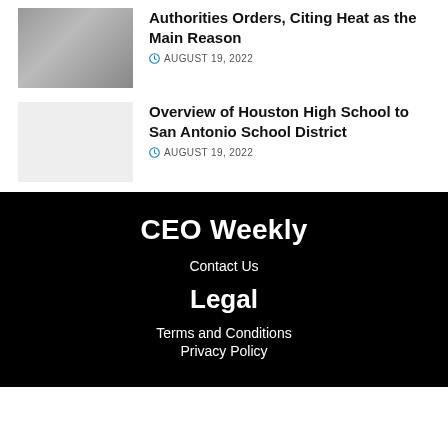[Figure (photo): Thumbnail photo of an outdoor street scene]
Authorities Orders, Citing Heat as the Main Reason
AUGUST 19, 2022
[Figure (photo): Blank/light gray placeholder thumbnail image]
Overview of Houston High School to San Antonio School District
AUGUST 19, 2022
CEO Weekly
Contact Us
Legal
Terms and Conditions
Privacy Policy